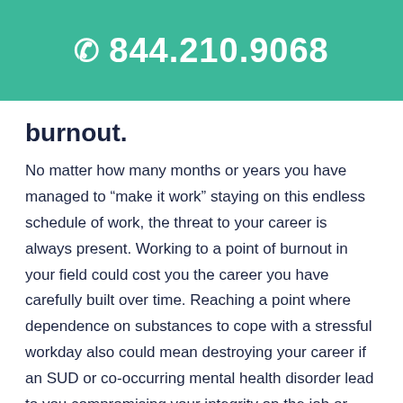844.210.9068
burnout.
No matter how many months or years you have managed to “make it work” staying on this endless schedule of work, the threat to your career is always present. Working to a point of burnout in your field could cost you the career you have carefully built over time. Reaching a point where dependence on substances to cope with a stressful workday also could mean destroying your career if an SUD or co-occurring mental health disorder lead to you compromising your integrity on the job or lead to criminal behavior.
Private and confidential help is available